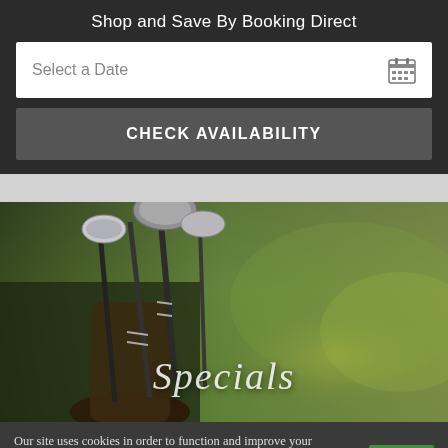Shop and Save By Booking Direct
Select a Date
CHECK AVAILABILITY
[Figure (photo): Golf clubs in a bag on a green golf course, blurred background]
Specials
Our site uses cookies in order to function and improve your experience. By continuing, you agree to the use of these cookies. Learn More   Agree